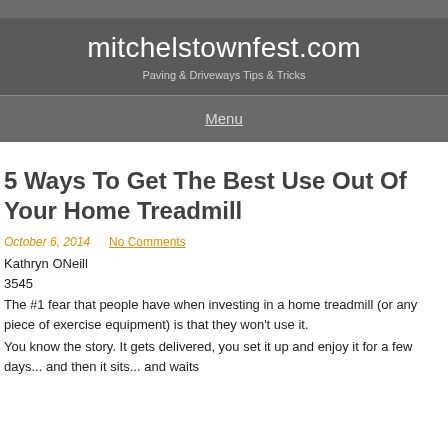mitchelstownfest.com
Paving & Driveways Tips & Tricks
Menu
5 Ways To Get The Best Use Out Of Your Home Treadmill
October 6, 2014    No Comments
Kathryn ONeill
3545
The #1 fear that people have when investing in a home treadmill (or any piece of exercise equipment) is that they won't use it.
You know the story. It gets delivered, you set it up and enjoy it for a few days... and then it sits... and waits